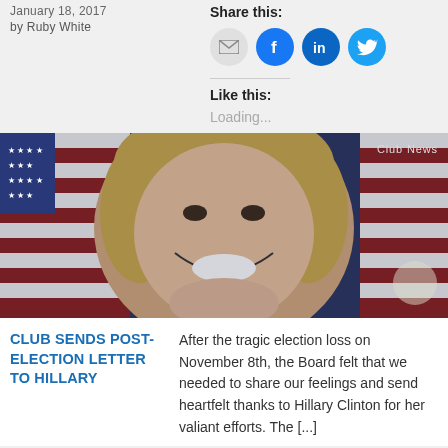January 18, 2017
by Ruby White
Share this:
[Figure (other): Social sharing icons: email (grey circle), Facebook (blue circle), LinkedIn (dark blue circle), Twitter (light blue circle)]
Like this:
Loading...
[Figure (photo): Close-up photo of a smiling blonde woman in front of American flags with 'Club News' badge in top right corner]
Club News
CLUB SENDS POST-ELECTION LETTER TO HILLARY
After the tragic election loss on November 8th, the Board felt that we needed to share our feelings and send heartfelt thanks to Hillary Clinton for her valiant efforts. The [...]